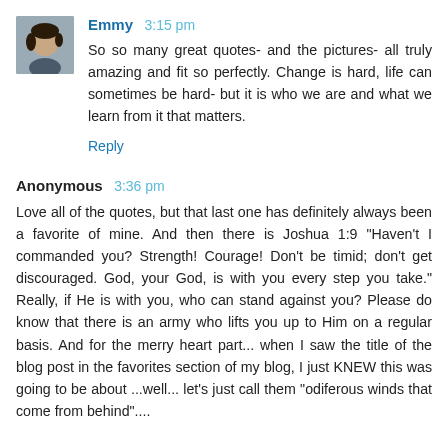Emmy 3:15 pm
So so many great quotes- and the pictures- all truly amazing and fit so perfectly. Change is hard, life can sometimes be hard- but it is who we are and what we learn from it that matters.
Reply
Anonymous 3:36 pm
Love all of the quotes, but that last one has definitely always been a favorite of mine. And then there is Joshua 1:9 "Haven't I commanded you? Strength! Courage! Don't be timid; don't get discouraged. God, your God, is with you every step you take." Really, if He is with you, who can stand against you? Please do know that there is an army who lifts you up to Him on a regular basis. And for the merry heart part... when I saw the title of the blog post in the favorites section of my blog, I just KNEW this was going to be about ...well... let's just call them "odiferous winds that come from behind"....